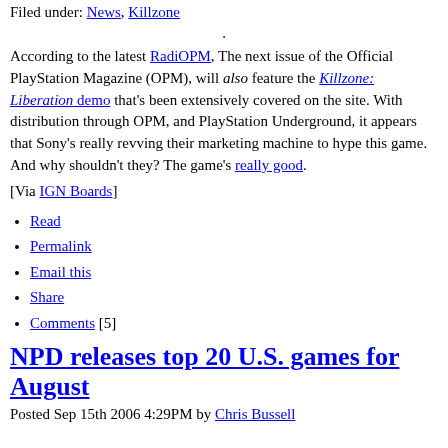Filed under: News, Killzone
.
According to the latest RadiOPM, The next issue of the Official PlayStation Magazine (OPM), will also feature the Killzone: Liberation demo that's been extensively covered on the site. With distribution through OPM, and PlayStation Underground, it appears that Sony's really revving their marketing machine to hype this game. And why shouldn't they? The game's really good.
[Via IGN Boards]
Read
Permalink
Email this
Share
Comments [5]
NPD releases top 20 U.S. games for August
Posted Sep 15th 2006 4:29PM by Chris Bussell